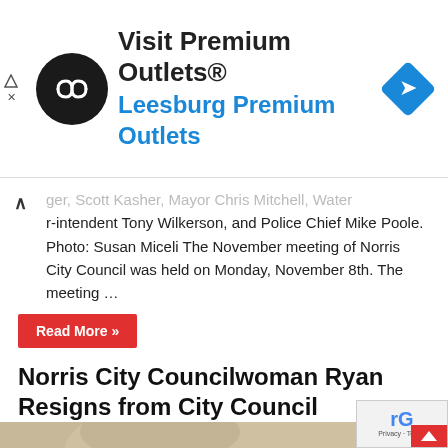[Figure (illustration): Ad banner for Visit Premium Outlets / Leesburg Premium Outlets with black circle logo and blue navigation diamond icon]
...ger, Scott Kasher, Mayor Chris Mitchell, Water Superintendent Tony Wilkerson, and Police Chief Mike Poole. Photo: Susan Miceli The November meeting of Norris City Council was held on Monday, November 8th. The meeting …
Read More »
Norris City Councilwoman Ryan Resigns from City Council
October 7, 2021   Featured, News   0
[Figure (photo): Close-up photo of a blonde woman's face, partially cropped]